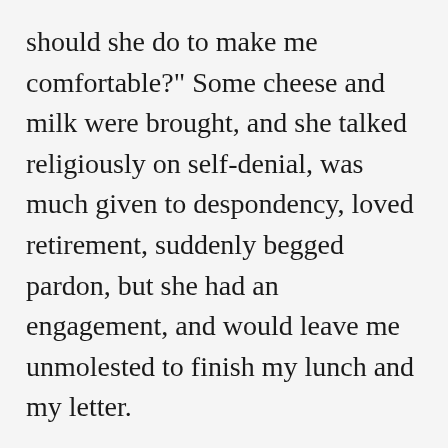should she do to make me comfortable?" Some cheese and milk were brought, and she talked religiously on self-denial, was much given to despondency, loved retirement, suddenly begged pardon, but she had an engagement, and would leave me unmolested to finish my lunch and my letter.